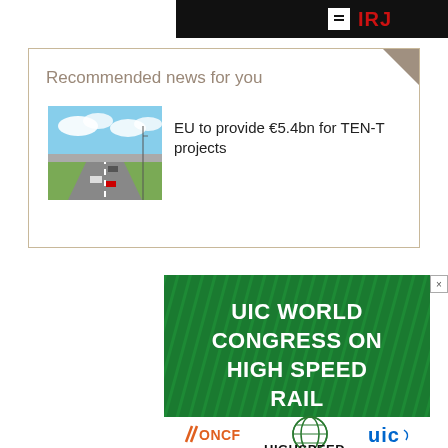[Figure (logo): Top dark banner with IRJ logo in red/white]
Recommended news for you
[Figure (photo): Highway aerial photo with cars and overpass]
EU to provide €5.4bn for TEN-T projects
[Figure (infographic): UIC World Congress on High Speed Rail advertisement banner in green]
[Figure (logo): ONCF logo, UIC globe logo, UIC text logo, UIC HIGHSPEED logo]